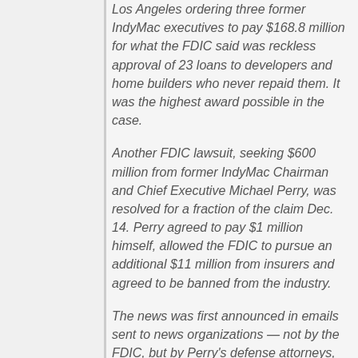Los Angeles ordering three former IndyMac executives to pay $168.8 million for what the FDIC said was reckless approval of 23 loans to developers and home builders who never repaid them. It was the highest award possible in the case.
Another FDIC lawsuit, seeking $600 million from former IndyMac Chairman and Chief Executive Michael Perry, was resolved for a fraction of the claim Dec. 14. Perry agreed to pay $1 million himself, allowed the FDIC to pursue an additional $11 million from insurers and agreed to be banned from the industry.
The news was first announced in emails sent to news organizations — not by the FDIC, but by Perry's defense attorneys, who considered the outcome a victory.